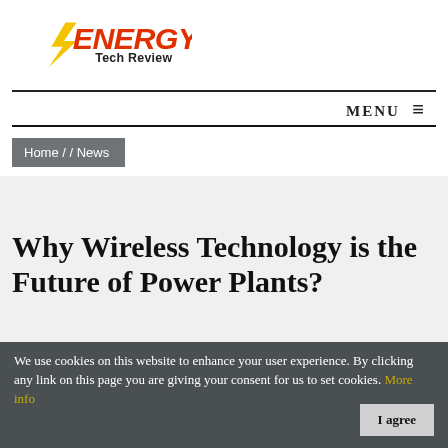[Figure (logo): Energy Tech Review logo with orange/red bold ENERGY text, lightning bolt graphic in yellow/orange, and 'Tech Review' in dark text below]
MENU ≡
Home / / News
Why Wireless Technology is the Future of Power Plants?
We use cookies on this website to enhance your user experience. By clicking any link on this page you are giving your consent for us to set cookies. More info